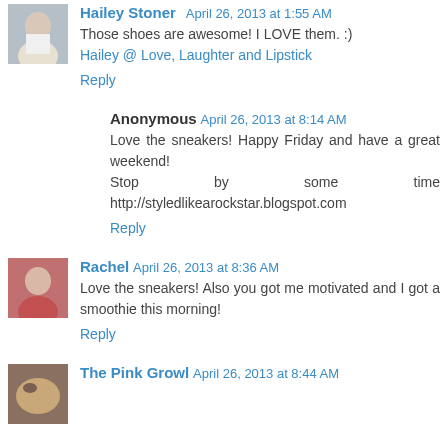Hailey Stoner April 26, 2013 at 1:55 AM
Those shoes are awesome! I LOVE them. :)
Hailey @ Love, Laughter and Lipstick
Reply
Anonymous April 26, 2013 at 8:14 AM
Love the sneakers! Happy Friday and have a great weekend!
Stop by some time http://styledlikearockstar.blogspot.com
Reply
Rachel April 26, 2013 at 8:36 AM
Love the sneakers! Also you got me motivated and I got a smoothie this morning!
Reply
The Pink Growl April 26, 2013 at 8:44 AM